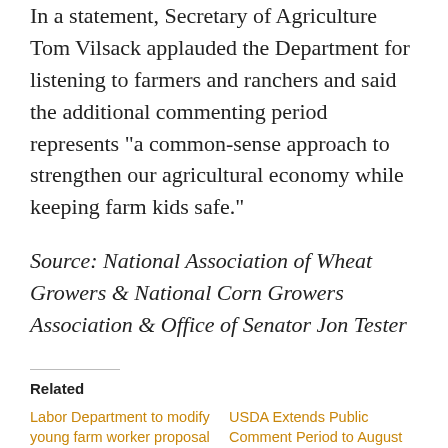In a statement, Secretary of Agriculture Tom Vilsack applauded the Department for listening to farmers and ranchers and said the additional commenting period represents “a common-sense approach to strengthen our agricultural economy while keeping farm kids safe.”
Source: National Association of Wheat Growers & National Corn Growers Association & Office of Senator Jon Tester
Related
Labor Department to modify young farm worker proposal
February 2, 2012
In “Ag News”
USDA Extends Public Comment Period to August 23 and Posts Public Webinar for the Proposed Rule to